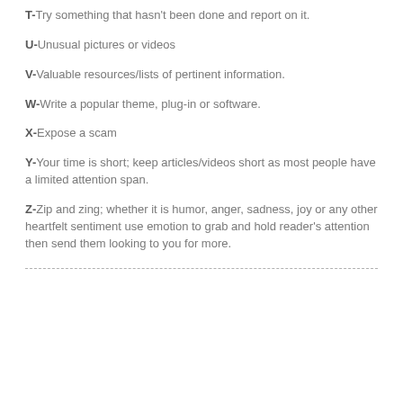T-Try something that hasn't been done and report on it.
U-Unusual pictures or videos
V-Valuable resources/lists of pertinent information.
W-Write a popular theme, plug-in or software.
X-Expose a scam
Y-Your time is short; keep articles/videos short as most people have a limited attention span.
Z-Zip and zing; whether it is humor, anger, sadness, joy or any other heartfelt sentiment use emotion to grab and hold reader's attention then send them looking to you for more.